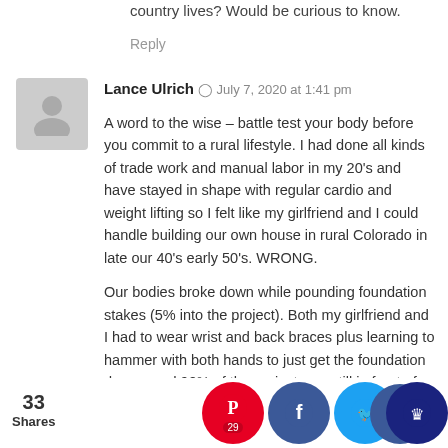country lives? Would be curious to know.
Reply
Lance Ulrich  July 7, 2020 at 1:41 pm
A word to the wise – battle test your body before you commit to a rural lifestyle. I had done all kinds of trade work and manual labor in my 20's and have stayed in shape with regular cardio and weight lifting so I felt like my girlfriend and I could handle building our own house in rural Colorado in late our 40's early 50's. WRONG.
Our bodies broke down while pounding foundation stakes (5% into the project). Both my girlfriend and I had to wear wrist and back braces plus learning to hammer with both hands to just get the foundation done – and 90% of the project was still in front of us. Our hands were so swollen we kept dropping small objects – like a pencil or toothbrush. We would take several days off to heal up but the aches and pains just came back with a vengeance and 800 mg of Ibuprofen would barely touch it.
W...n't sle...use th...ould w...up so y... g...and him...0% of t...ect (wh...ran th...